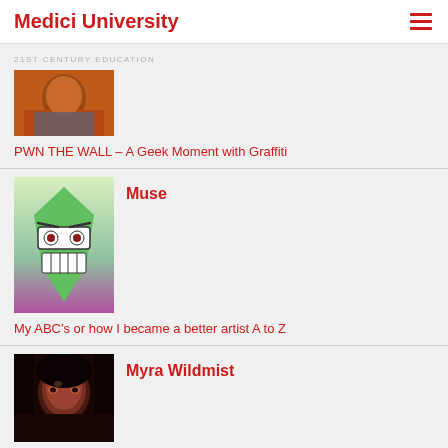Medici University
21ST CENTURY EDUCATION
[Figure (photo): Photo of a person in a red jacket outdoors]
PWN THE WALL – A Geek Moment with Graffiti
[Figure (illustration): Cartoon robot/alien face with green angular head, glasses, and teeth on a purple background]
Muse
My ABC's or how I became a better artist A to Z
[Figure (photo): Dark portrait photo of a woman]
Myra Wildmist